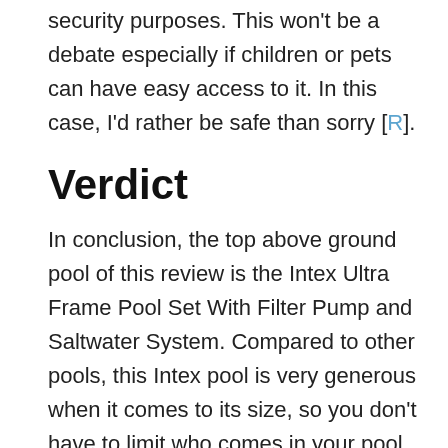security purposes. This won't be a debate especially if children or pets can have easy access to it. In this case, I'd rather be safe than sorry [R].
Verdict
In conclusion, the top above ground pool of this review is the Intex Ultra Frame Pool Set With Filter Pump and Saltwater System. Compared to other pools, this Intex pool is very generous when it comes to its size, so you don't have to limit who comes in your pool. In addition, the pool's durability and strength is never a concern because it is supported by laminated PVC walls.
Not to mention its exceptional saltwater system, which is a big help that keeps your water from the harsh chemicals which make every swimming session a